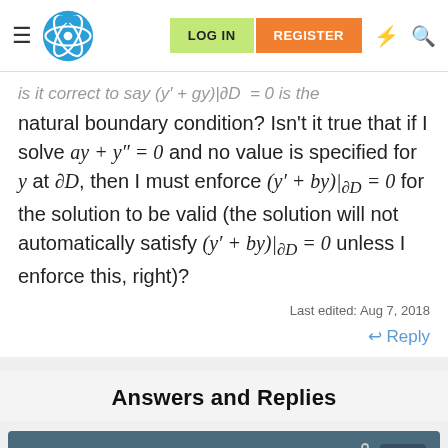[Figure (screenshot): Website navigation bar with hamburger menu, atom logo, LOG IN and REGISTER buttons, and icons]
is it correct to say (y' + gy)|∂D = 0 is the natural boundary condition? Isn't it true that if I solve ay + y'' = 0 and no value is specified for y at ∂D, then I must enforce (y' + by)|∂D = 0 for the solution to be valid (the solution will not automatically satisfy (y' + by)|∂D = 0 unless I enforce this, right)?
Last edited: Aug 7, 2018
↩ Reply
Answers and Replies
Aug 8, 2018
jambaugh